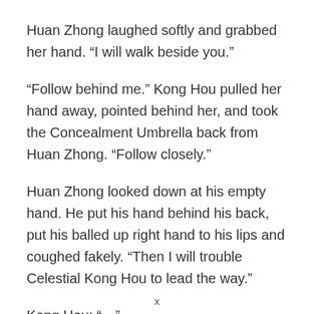Huan Zhong laughed softly and grabbed her hand. “I will walk beside you.”
“Follow behind me.” Kong Hou pulled her hand away, pointed behind her, and took the Concealment Umbrella back from Huan Zhong. “Follow closely.”
Huan Zhong looked down at his empty hand. He put his hand behind his back, put his balled up right hand to his lips and coughed fakely. “Then I will trouble Celestial Kong Hou to lead the way.”
Kong Hou: “…”
x